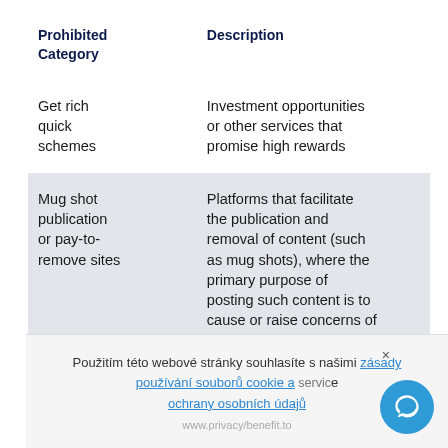| Prohibited Category | Description |
| --- | --- |
| Get rich quick schemes | Investment opportunities or other services that promise high rewards |
| Mug shot publication or pay-to-remove sites | Platforms that facilitate the publication and removal of content (such as mug shots), where the primary purpose of posting such content is to cause or raise concerns of reputational harm |
Použitím této webové stránky souhlasíte s našimi zásady používání souborů cookie a ochrany osobních údajů